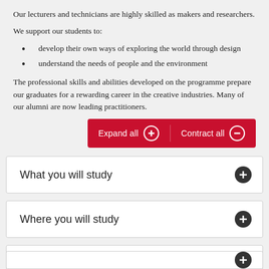Our lecturers and technicians are highly skilled as makers and researchers.
We support our students to:
develop their own ways of exploring the world through design
understand the needs of people and the environment
The professional skills and abilities developed on the programme prepare our graduates for a rewarding career in the creative industries. Many of our alumni are now leading practitioners.
What you will study
Where you will study
Learning and assessment